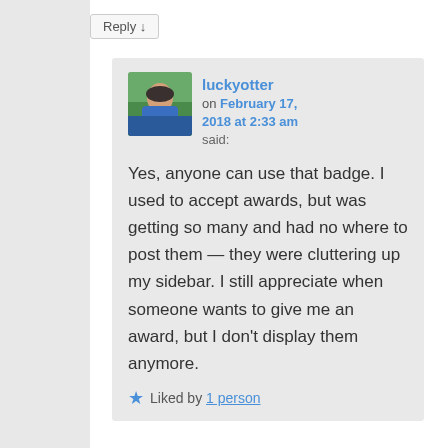Reply ↓
luckyotter on February 17, 2018 at 2:33 am said:
Yes, anyone can use that badge. I used to accept awards, but was getting so many and had no where to post them — they were cluttering up my sidebar. I still appreciate when someone wants to give me an award, but I don't display them anymore.
★ Liked by 1 person